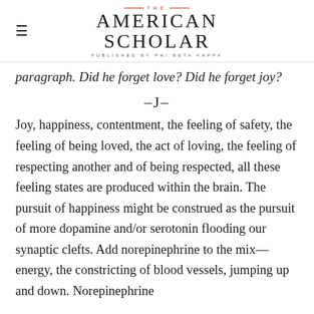THE AMERICAN SCHOLAR — PUBLISHED BY PHI BETA KAPPA
paragraph. Did he forget love? Did he forget joy?
–J–
Joy, happiness, contentment, the feeling of safety, the feeling of being loved, the act of loving, the feeling of respecting another and of being respected, all these feeling states are produced within the brain. The pursuit of happiness might be construed as the pursuit of more dopamine and/or serotonin flooding our synaptic clefts. Add norepinephrine to the mix—energy, the constricting of blood vessels, jumping up and down. Norepinephrine